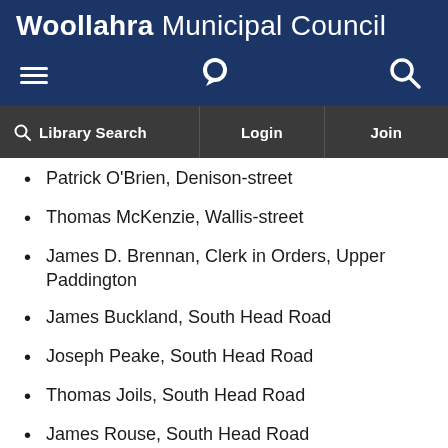Woollahra Municipal Council
Patrick O'Brien, Denison-street
Thomas McKenzie, Wallis-street
James D. Brennan, Clerk in Orders, Upper Paddington
James Buckland, South Head Road
Joseph Peake, South Head Road
Thomas Joils, South Head Road
James Rouse, South Head Road
William Thomas, South Head Road
Robert Coulthard Dawson, South Head Road